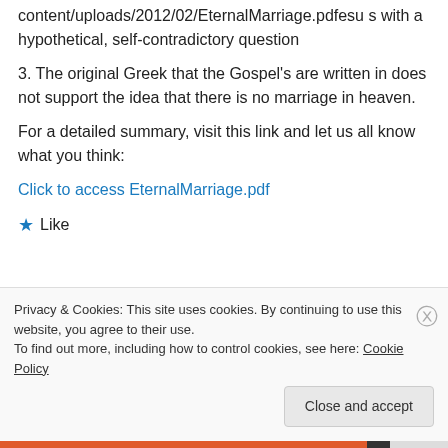content/uploads/2012/02/EternalMarriage.pdfesu s with a hypothetical, self-contradictory question
3. The original Greek that the Gospel's are written in does not support the idea that there is no marriage in heaven.
For a detailed summary, visit this link and let us all know what you think:
Click to access EternalMarriage.pdf
★ Like
Privacy & Cookies: This site uses cookies. By continuing to use this website, you agree to their use.
To find out more, including how to control cookies, see here: Cookie Policy
Close and accept